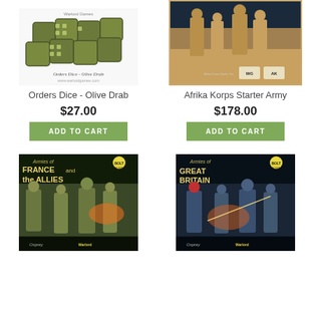[Figure (photo): Product photo of Orders Dice - Olive Drab (set of green military dice)]
Orders Dice - Olive Drab
$27.00
ADD TO CART
[Figure (photo): Product photo of Afrika Korps Starter Army box set with WWII soldiers]
Afrika Korps Starter Army
$178.00
ADD TO CART
[Figure (photo): Bolt Action - Armies of France and the Allies book cover]
[Figure (photo): Bolt Action - Armies of Great Britain book cover]